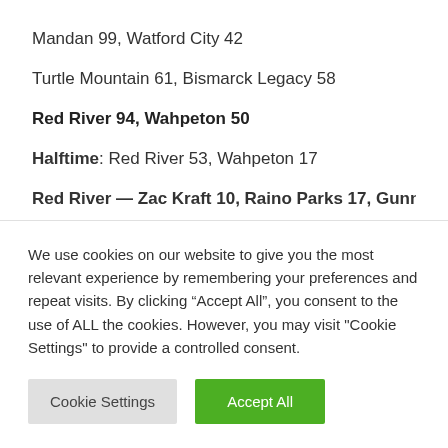Mandan 99, Watford City 42
Turtle Mountain 61, Bismarck Legacy 58
Red River 94, Wahpeton 50
Halftime: Red River 53, Wahpeton 17
Red River — Zac Kraft 10, Raino Parks 17, Gunnar
We use cookies on our website to give you the most relevant experience by remembering your preferences and repeat visits. By clicking “Accept All”, you consent to the use of ALL the cookies. However, you may visit "Cookie Settings" to provide a controlled consent.